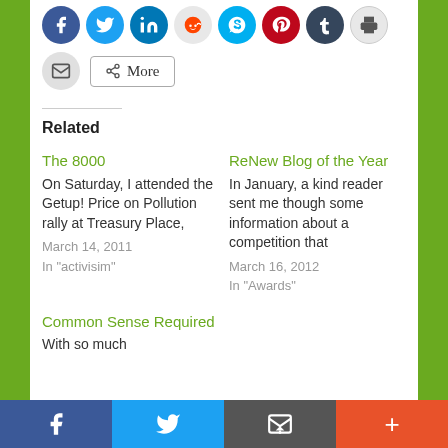[Figure (other): Social sharing icon buttons row: Facebook, Twitter, LinkedIn, Reddit, Skype, Pinterest, Tumblr, Print]
[Figure (other): Email icon button and More share button]
Related
The 8000
On Saturday, I attended the Getup! Price on Pollution rally at Treasury Place,
March 14, 2011
In "activisim"
ReNew Blog of the Year
In January, a kind reader sent me though some information about a competition that
March 16, 2012
In "Awards"
Common Sense Required
With so much
[Figure (other): Bottom social sharing bar with Facebook, Twitter, Email/envelope, and Plus (+) buttons]